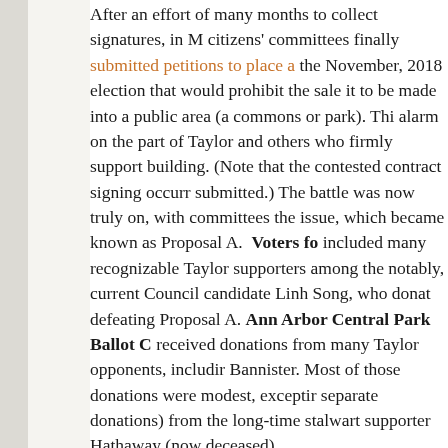After an effort of many months to collect signatures, in M citizens' committees finally submitted petitions to place the November, 2018 election that would prohibit the sale it to be made into a public area (a commons or park). Thi alarm on the part of Taylor and others who firmly support building. (Note that the contested contract signing occurr submitted.) The battle was now truly on, with committees the issue, which became known as Proposal A. Voters fo included many recognizable Taylor supporters among the notably, current Council candidate Linh Song, who donat defeating Proposal A. Ann Arbor Central Park Ballot C received donations from many Taylor opponents, includir Bannister. Most of those donations were modest, exceptir separate donations) from the long-time stalwart supporter Hathaway (now deceased).

There was quite a concerted effort to defeat the ballot pro campaign committees, a number of prominent citizens sp issue. Linh Song was highly visible in the opposition, as Jessica Letaw. The Washtenaw Housing Alliance, a non-p broker (and former Council member) Sandi Smith, came proposal. And of course, Christopher Taylor himself sent urging the proposal's defeat. When the voters approved th November 2018, Taylor described it as a "gut punch" (D